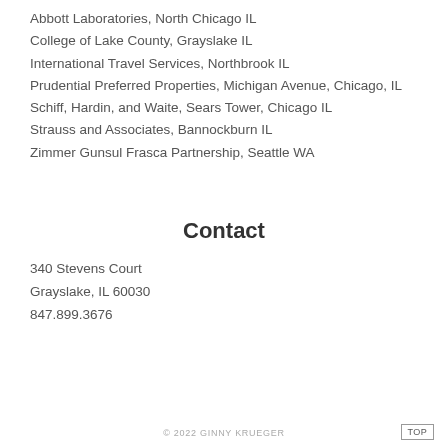Abbott Laboratories, North Chicago IL
College of Lake County, Grayslake IL
International Travel Services, Northbrook IL
Prudential Preferred Properties, Michigan Avenue, Chicago, IL
Schiff, Hardin, and Waite, Sears Tower, Chicago IL
Strauss and Associates, Bannockburn IL
Zimmer Gunsul Frasca Partnership, Seattle WA
Contact
340 Stevens Court
Grayslake, IL 60030
847.899.3676
© 2022 GINNY KRUEGER